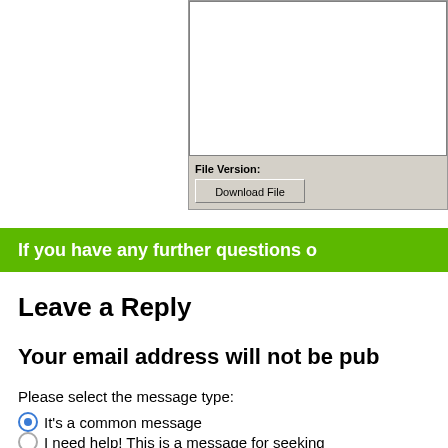[Figure (screenshot): Partial screenshot of a file download dialog showing a white content area, 'File Version:' label, and a 'Download File' button on a grey Windows-style background]
If you have any further questions o
Leave a Reply
Your email address will not be pub
Please select the message type:
It's a common message
I need help! This is a message for seeking
as soon as possible)